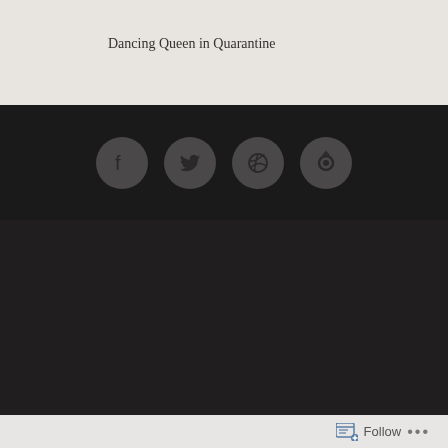Dancing Queen in Quarantine
[Figure (illustration): Four circular social media icons on dark background: Facebook, Twitter, Dribbble, and a custom icon]
CONTACT
Karlsruhe, Germany
harriet.emily.mills@gmail.com
A BALLET OF LIFE CATEGORIES
Follow ...